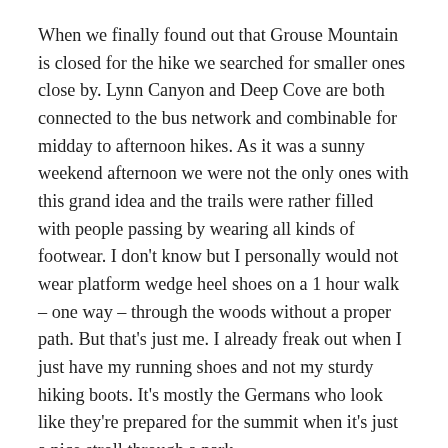When we finally found out that Grouse Mountain is closed for the hike we searched for smaller ones close by. Lynn Canyon and Deep Cove are both connected to the bus network and combinable for midday to afternoon hikes. As it was a sunny weekend afternoon we were not the only ones with this grand idea and the trails were rather filled with people passing by wearing all kinds of footwear. I don't know but I personally would not wear platform wedge heel shoes on a 1 hour walk – one way – through the woods without a proper path. But that's just me. I already freak out when I just have my running shoes and not my sturdy hiking boots. It's mostly the Germans who look like they're prepared for the summit when it's just a nice stroll through a park.
These small hikes reminded me a lot of New Zealand. The fresh temperature surely added to this image and I got lost for a minute thinking about the Gray Walks and Stewart